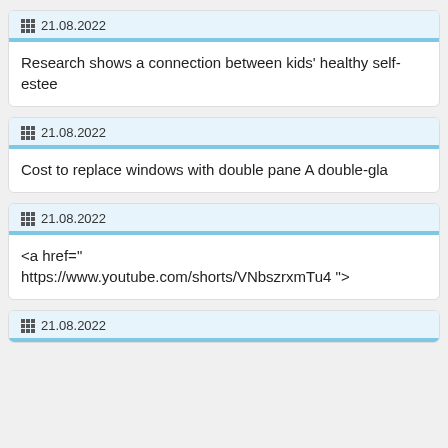21.08.2022 — Research shows a connection between kids' healthy self-estee
21.08.2022 — Cost to replace windows with double pane A double-gla
21.08.2022 — <a href="https://www.youtube.com/shorts/VNbszrxmTu4 ">
21.08.2022